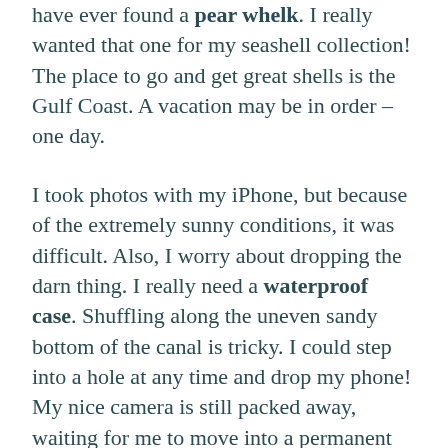have ever found a pear whelk. I really wanted that one for my seashell collection! The place to go and get great shells is the Gulf Coast. A vacation may be in order – one day.
I took photos with my iPhone, but because of the extremely sunny conditions, it was difficult. Also, I worry about dropping the darn thing. I really need a waterproof case. Shuffling along the uneven sandy bottom of the canal is tricky. I could step into a hole at any time and drop my phone! My nice camera is still packed away, waiting for me to move into a permanent home.
Once we have our newer, bigger boat, it will be so much easier to grab the phone and get video and photos while the boys fish. Not to mention that fishing will be much more fun! So it's all a waiting game, which is par for the course in my life. But we still had